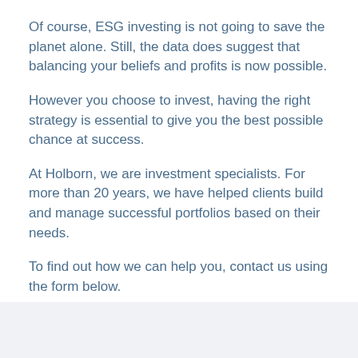Of course, ESG investing is not going to save the planet alone. Still, the data does suggest that balancing your beliefs and profits is now possible.
However you choose to invest, having the right strategy is essential to give you the best possible chance at success.
At Holborn, we are investment specialists. For more than 20 years, we have helped clients build and manage successful portfolios based on their needs.
To find out how we can help you, contact us using the form below.